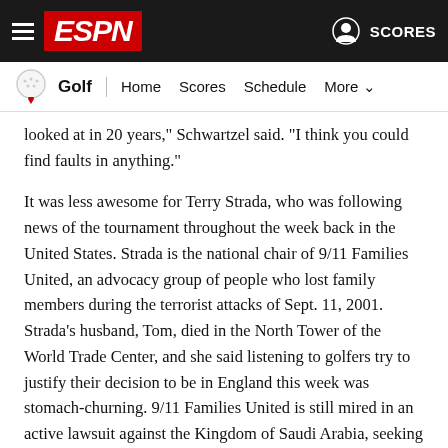ESPN - Golf | Home Scores Schedule More | SCORES
looked at in 20 years," Schwartzel said. "I think you could find faults in anything."
It was less awesome for Terry Strada, who was following news of the tournament throughout the week back in the United States. Strada is the national chair of 9/11 Families United, an advocacy group of people who lost family members during the terrorist attacks of Sept. 11, 2001. Strada's husband, Tom, died in the North Tower of the World Trade Center, and she said listening to golfers try to justify their decision to be in England this week was stomach-churning. 9/11 Families United is still mired in an active lawsuit against the Kingdom of Saudi Arabia, seeking a judgment in federal court against the country for its alleged role in training and financing the 9/11 hijackers, 15 of whom were citizens of Saudi Arabia.